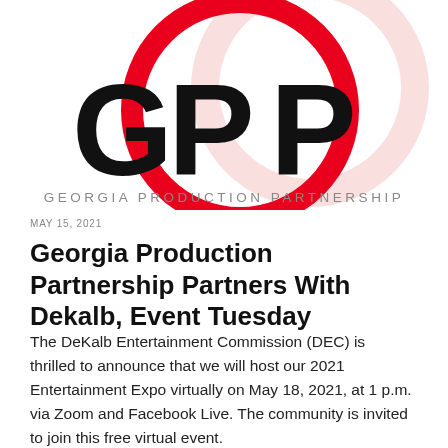[Figure (logo): Georgia Production Partnership logo with GPP letters in bold black, overlaid with a red circle outline, and a light pink shadow circle. Below the letters: GEORGIA PRODUCTION PARTNERSHIP in spaced gray capitals.]
MAY 15, 2021
Georgia Production Partnership Partners With Dekalb, Event Tuesday
The DeKalb Entertainment Commission (DEC) is thrilled to announce that we will host our 2021 Entertainment Expo virtually on May 18, 2021, at 1 p.m. via Zoom and Facebook Live. The community is invited to join this free virtual event.